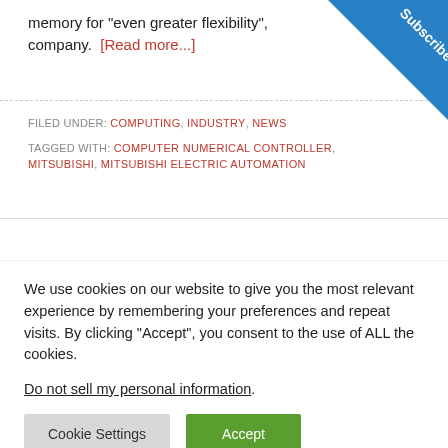memory for "even greater flexibility", company.  [Read more...]
FILED UNDER: COMPUTING, INDUSTRY, NEWS
TAGGED WITH: COMPUTER NUMERICAL CONTROLLER, MITSUBISHI, MITSUBISHI ELECTRIC AUTOMATION
[Figure (other): Blue diagonal Subscribe banner in top-right corner]
We use cookies on our website to give you the most relevant experience by remembering your preferences and repeat visits. By clicking "Accept", you consent to the use of ALL the cookies.
Do not sell my personal information.